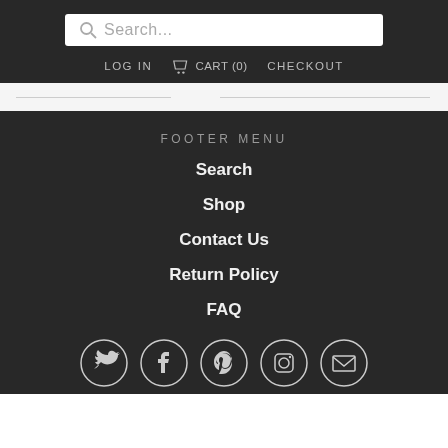Search...
LOG IN   CART (0)   CHECKOUT
FOOTER MENU
Search
Shop
Contact Us
Return Policy
FAQ
[Figure (infographic): Social media icons in circles: Twitter, Facebook, Pinterest, Instagram, Email/Envelope]